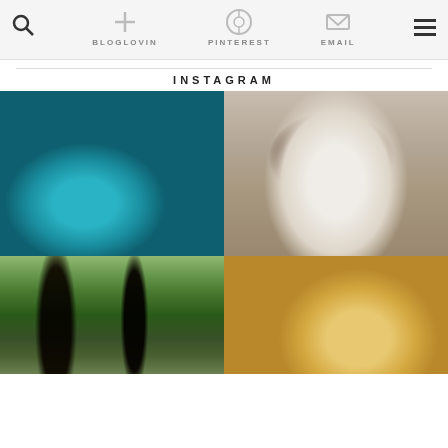Navigation bar with search, bloglovin, pinterest, email, and menu icons
BLOGLOVIN
PINTEREST
EMAIL
INSTAGRAM
[Figure (photo): A teal/turquoise coffee cup with latte art on a wooden table, green landscape with pond in background]
[Figure (photo): A brown and white Springer Spaniel dog standing on sandy ground, tongue out, wearing a red harness]
[Figure (photo): A forest path with tall trees and green undergrowth, sunlight filtering through]
[Figure (photo): A muffin or baked good with a star-shaped topping on a plate, brick wall background]